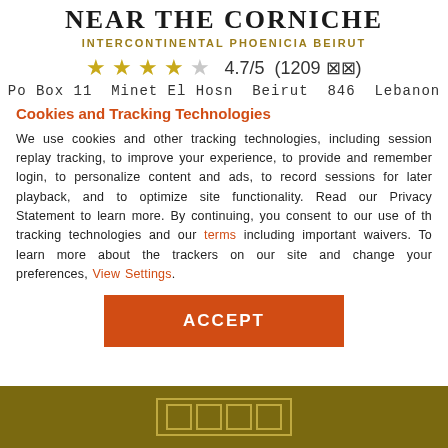NEAR THE CORNICHE
INTERCONTINENTAL PHOENICIA BEIRUT
★★★★☆  4.7/5  (1209 ⊠⊠)
Po Box 11  Minet El Hosn  Beirut  846  Lebanon
Cookies and Tracking Technologies
We use cookies and other tracking technologies, including session replay tracking, to improve your experience, to provide and remember login, to personalize content and ads, to record sessions for later playback, and to optimize site functionality. Read our Privacy Statement to learn more. By continuing, you consent to our use of the tracking technologies and our terms including important waivers. To learn more about the trackers on our site and change your preferences, View Settings.
ACCEPT
[Figure (other): Gold footer bar with icon placeholders]